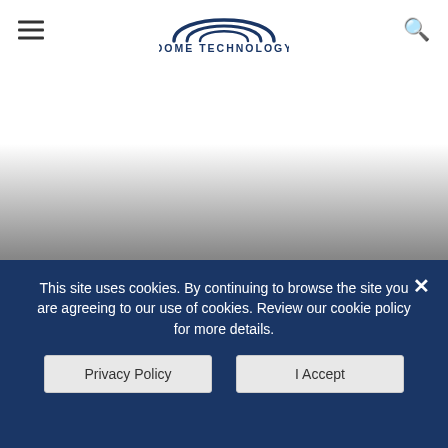[Figure (logo): Dome Technology logo with dome arc graphic above the company name in dark navy blue text]
[Figure (photo): Background image area showing a gradient from white to dark gray suggesting a large dome structure]
This site uses cookies. By continuing to browse the site you are agreeing to our use of cookies. Review our cookie policy for more details.
Privacy Policy
I Accept